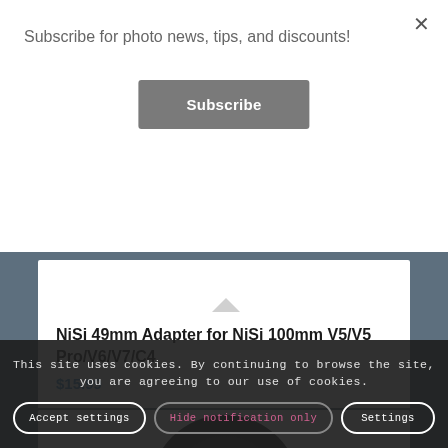Subscribe for photo news, tips, and discounts!
Subscribe
×
NiSi 49mm Adapter for NiSi 100mm V5/V5 Pro/V6/V7/C4
$15.99
[Figure (photo): Partial view of a dark circular camera lens filter]
This site uses cookies. By continuing to browse the site, you are agreeing to our use of cookies.
Accept settings
Hide notification only
Settings